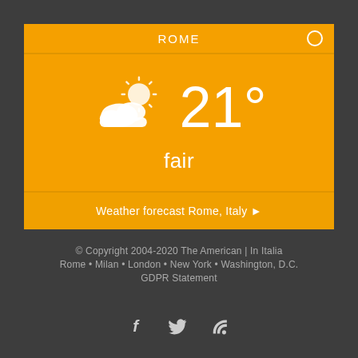[Figure (infographic): Weather widget for Rome showing partly cloudy icon, temperature 21°, condition 'fair', and link to Weather forecast Rome, Italy]
© Copyright 2004-2020 The American | In Italia
Rome • Milan • London • New York • Washington, D.C.
GDPR Statement
[Figure (infographic): Social media icons: Facebook (f), Twitter (bird), RSS feed]